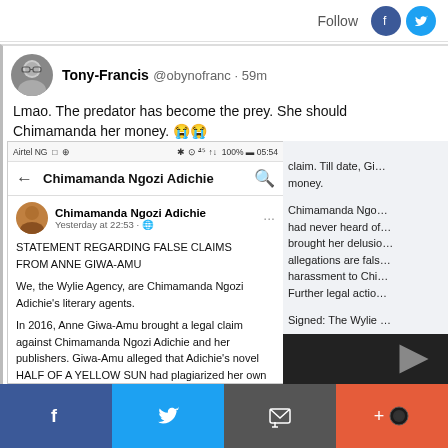Follow
[Figure (screenshot): Screenshot of a tweet by Tony-Francis @obynofranc 59m: 'Lmao. The predator has become the prey. She should Chimamanda her money. 😭😭' containing an embedded Facebook post from Chimamanda Ngozi Adichie with a statement regarding false claims from Anne Giwa-Amu, from the Wylie Agency, about a 2016 legal claim. The right side shows continuation of the statement text.]
Share buttons: Facebook, Twitter, Mail, Plus